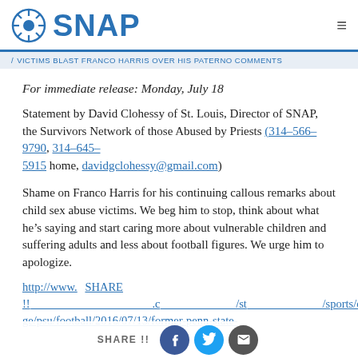SNAP logo header
/ VICTIMS BLAST FRANCO HARRIS OVER HIS PATERNO COMMENTS
For immediate release: Monday, July 18
Statement by David Clohessy of St. Louis, Director of SNAP, the Survivors Network of those Abused by Priests (314-566-9790, 314-645-5915 home, davidgclohessy@gmail.com)
Shame on Franco Harris for his continuing callous remarks about child sex abuse victims. We beg him to stop, think about what he’s saying and start caring more about vulnerable children and suffering adults and less about football figures. We urge him to apologize.
http://www.[...].c[...]/st[...]/sports/college/psu/football/2016/07/13/former-penn-state-